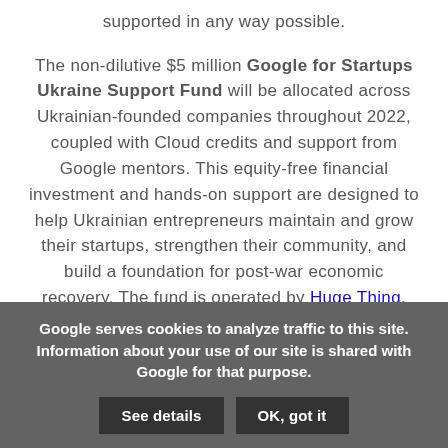supported in any way possible.
The non-dilutive $5 million Google for Startups Ukraine Support Fund will be allocated across Ukrainian-founded companies throughout 2022, coupled with Cloud credits and support from Google mentors. This equity-free financial investment and hands-on support are designed to help Ukrainian entrepreneurs maintain and grow their startups, strengthen their community, and build a foundation for post-war economic recovery. The fund is operated by Huge Thing.
Google serves cookies to analyze traffic to this site. Information about your use of our site is shared with Google for that purpose.